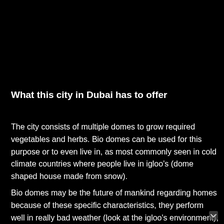What this city in Dubai has to offer
The city consists of multiple domes to grow required vegetables and herbs. Bio domes can be used for this purpose or to even live in, as most commonly seen in cold climate countries where people live in igloo's (dome shaped house made from snow).
Bio domes may be the future of mankind regarding homes because of these specific characteristics, they perform well in really bad weather (look at the igloo's environment), they regulate